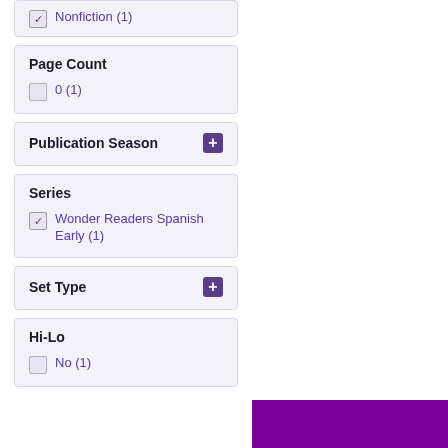Nonfiction (1)
Page Count
0 (1)
Publication Season
Series
Wonder Readers Spanish Early (1)
Set Type
Hi-Lo
No (1)